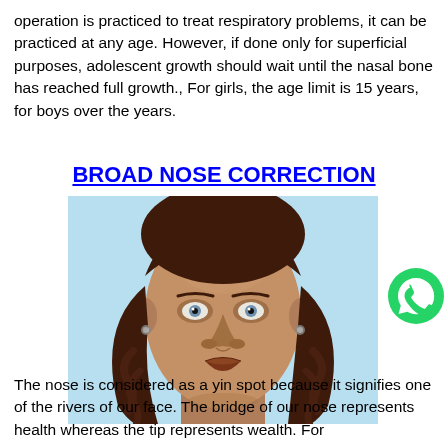operation is practiced to treat respiratory problems, it can be practiced at any age. However, if done only for superficial purposes, adolescent growth should wait until the nasal bone has reached full growth., For girls, the age limit is 15 years, for boys over the years.
BROAD NOSE CORRECTION
[Figure (illustration): 3D rendered illustration of a female face with brown wavy hair, viewed from the front, showing nose features against a light blue background]
[Figure (logo): WhatsApp green circular logo icon]
The nose is considered as a yin spot because it signifies one of the rivers of our face. The bridge of our nose represents health whereas the tip represents wealth. For